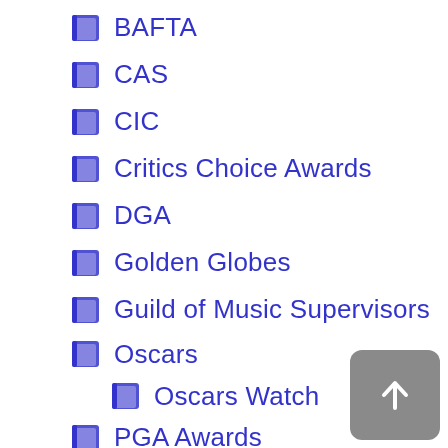BAFTA
CAS
CIC
Critics Choice Awards
DGA
Golden Globes
Guild of Music Supervisors
Oscars
Oscars Watch
PGA Awards
SAG Awards
Solzy Awards
Spirit Awards
WFCC
WGA Awards
Box Office